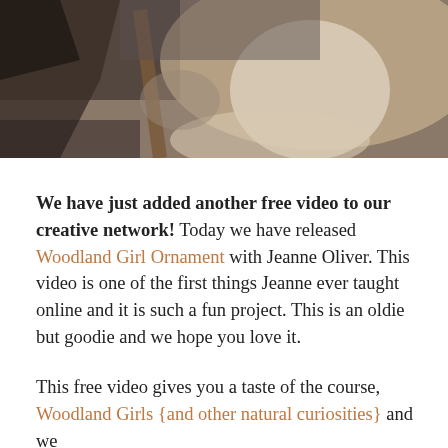[Figure (photo): A close-up photo showing what appears to be a woodland or craft scene with dark and light tones, a wooden element, and textured surfaces]
We have just added another free video to our creative network! Today we have released Woodland Girl Ornament with Jeanne Oliver. This video is one of the first things Jeanne ever taught online and it is such a fun project. This is an oldie but goodie and we hope you love it.
This free video gives you a taste of the course, Woodland Girls {and other natural curiosities} and we